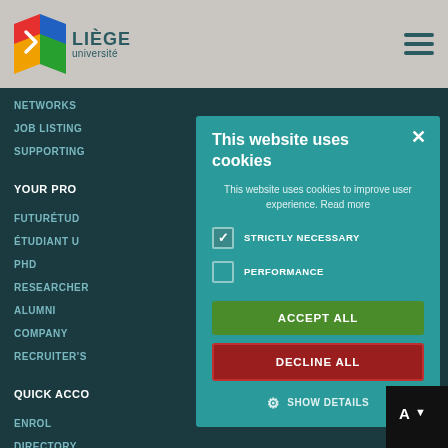[Figure (screenshot): Liège Université website header with logo and hamburger menu on gray background]
NETWORKS
JOB LISTING
SUPPORTING
YOUR PRO
FUTURÉTUD
ÉTUDIANT U
PHD
RESEARCHER
ALUMNI
COMPANY
RECRUITER'S
QUICK ACCO
ENROL
DIRECTORY
This website uses cookies
This website uses cookies to improve user experience. Read more
STRICTLY NECESSARY
PERFORMANCE
ACCEPT ALL
DECLINE ALL
SHOW DETAILS